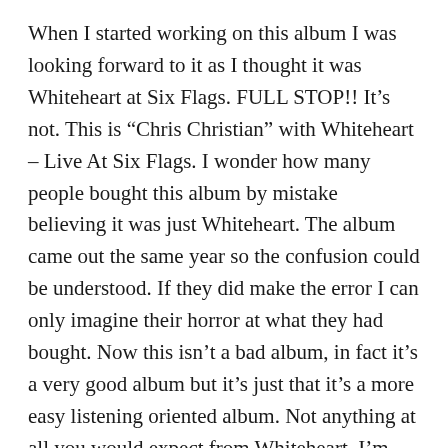When I started working on this album I was looking forward to it as I thought it was Whiteheart at Six Flags. FULL STOP!! It’s not. This is “Chris Christian” with Whiteheart – Live At Six Flags. I wonder how many people bought this album by mistake believing it was just Whiteheart. The album came out the same year so the confusion could be understood. If they did make the error I can only imagine their horror at what they had bought. Now this isn’t a bad album, in fact it’s a very good album but it’s just that it’s a more easy listening oriented album. Not anything at all you would expect from Whiteheart. I’m guessing it was recorded at the same concert as the Whiteheart album. This could be giving me far the